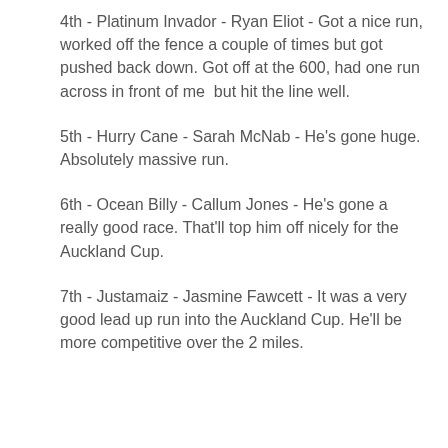4th - Platinum Invador - Ryan Eliot - Got a nice run, worked off the fence a couple of times but got pushed back down. Got off at the 600, had one run across in front of me  but hit the line well.
5th - Hurry Cane - Sarah McNab - He's gone huge. Absolutely massive run.
6th - Ocean Billy - Callum Jones - He's gone a really good race. That'll top him off nicely for the Auckland Cup.
7th - Justamaiz - Jasmine Fawcett - It was a very good lead up run into the Auckland Cup. He'll be more competitive over the 2 miles.